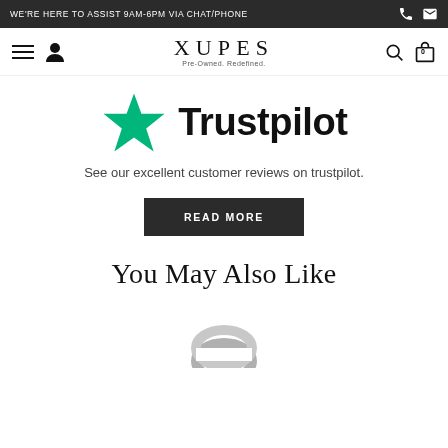WE'RE HERE TO ASSIST 9AM-6PM VIA CHAT/PHONE
[Figure (logo): XUPES Pre-Owned. Redefined. logo with navigation icons]
[Figure (logo): Trustpilot logo with green star]
See our excellent customer reviews on trustpilot.
READ MORE
You May Also Like
[Figure (photo): Partial product image at bottom of page]